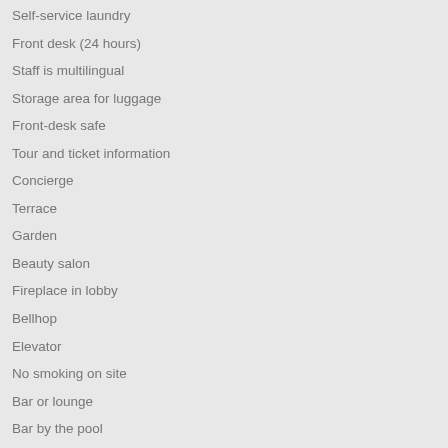Self-service laundry
Front desk (24 hours)
Staff is multilingual
Storage area for luggage
Front-desk safe
Tour and ticket information
Concierge
Terrace
Garden
Beauty salon
Fireplace in lobby
Bellhop
Elevator
No smoking on site
Bar or lounge
Bar by the pool
Dining venue
Family Friendly Amenities